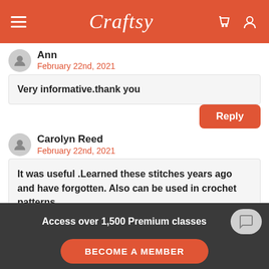Craftsy
Ann
February 22nd, 2021
Very informative.thank you
Reply
Carolyn Reed
February 22nd, 2021
It was useful .Learned these stitches years ago and have forgotten. Also can be used in crochet patterns.
Access over 1,500 Premium classes
BECOME A MEMBER